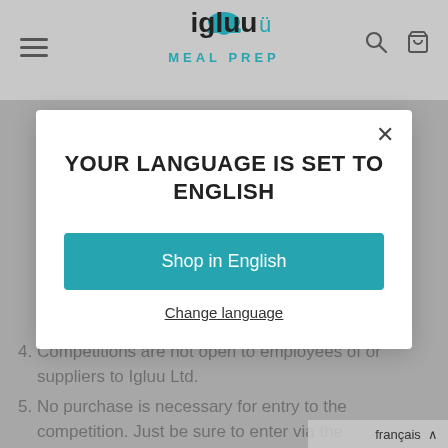[Figure (logo): Igluu Meal Prep logo with chef hat icon, teal and black colors]
YOUR LANGUAGE IS SET TO ENGLISH
Shop in English
Change language
4. Competitions are not open to employees of or suppliers to Igluu Ltd.
5. No purchase is necessary for entry to the competition. Just be sure to enter via the specified social media mechanism.
français